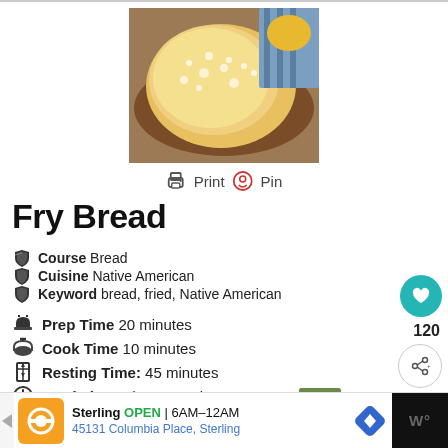[Figure (photo): Fry bread dusted with powdered sugar on a round wooden plate, with a blue striped cloth in background]
🖨 Print  📌 Pin
Fry Bread
Course  Bread
Cuisine  Native American
Keyword  bread, fried, Native American
Prep Time  20 minutes
Cook Time  10 minutes
Resting Time:  45 minutes
Total Time  1 hour 15 minutes
WHAT'S NEXT → Dinosaur Bento and...
Sterling  OPEN  6AM–12AM  45131 Columbia Place, Sterling